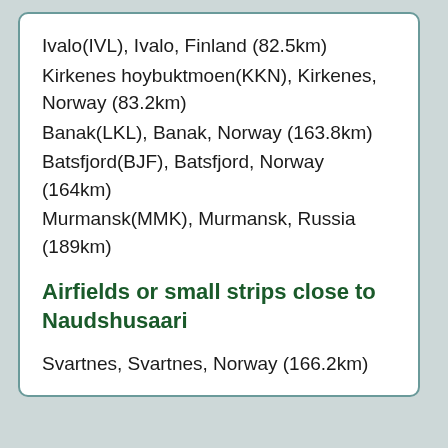Ivalo(IVL), Ivalo, Finland (82.5km)
Kirkenes hoybuktmoen(KKN), Kirkenes, Norway (83.2km)
Banak(LKL), Banak, Norway (163.8km)
Batsfjord(BJF), Batsfjord, Norway (164km)
Murmansk(MMK), Murmansk, Russia (189km)
Airfields or small strips close to Naudshusaari
Svartnes, Svartnes, Norway (166.2km)